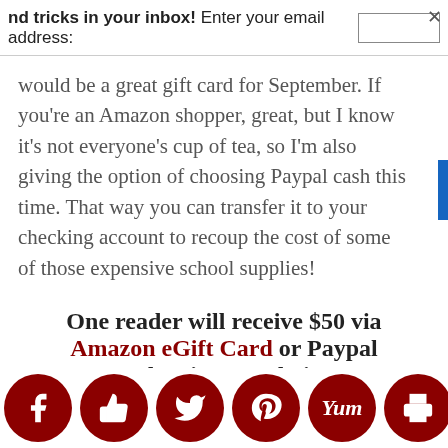nd tricks in your inbox!  Enter your email address:
would be a great gift card for September. If you're an Amazon shopper, great, but I know it's not everyone's cup of tea, so I'm also giving the option of choosing Paypal cash this time. That way you can transfer it to your checking account to recoup the cost of some of those expensive school supplies!
One reader will receive $50 via Amazon eGift Card or Paypal Cash, winner's choice!
[Figure (infographic): Row of dark red circular social media share icons: Facebook, Thumbs Up (like), Twitter, Pinterest, Yummly, Print, Email, Crown/other. Partially obscured giveaway entry text at bottom.]